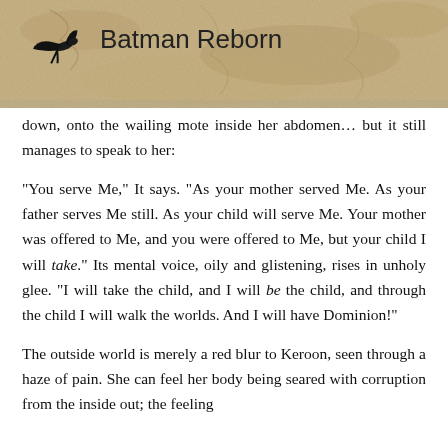Batman Reborn
down, onto the wailing mote inside her abdomen… but it still manages to speak to her:
"You serve Me," It says. "As your mother served Me. As your father serves Me still. As your child will serve Me. Your mother was offered to Me, and you were offered to Me, but your child I will take." Its mental voice, oily and glistening, rises in unholy glee. "I will take the child, and I will be the child, and through the child I will walk the worlds. And I will have Dominion!"
The outside world is merely a red blur to Keroon, seen through a haze of pain. She can feel her body being seared with corruption from the inside out; the feeling